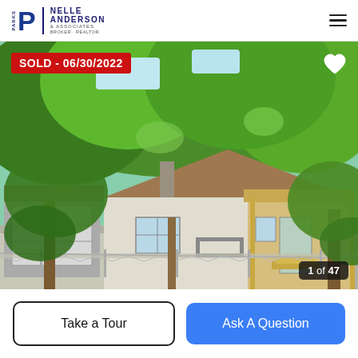[Figure (logo): Parks P logo with Nelle Anderson & Associates agency name]
[Figure (photo): Exterior photo of a sold house with a front porch, garage, chain-link fence, and large green trees. Red SOLD badge dated 06/30/2022 in upper left. Heart icon upper right. Photo counter '1 of 47' lower right.]
SOLD - 06/30/2022
1 of 47
Take a Tour
Ask A Question